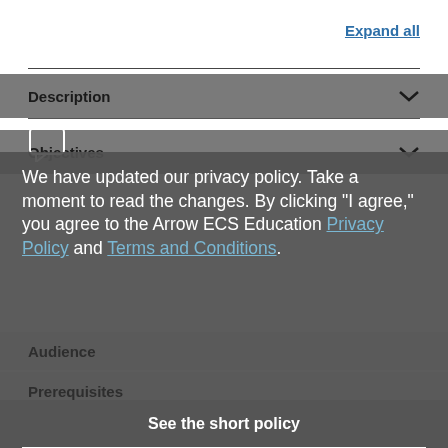Expand all
Description
Objectives
We have updated our privacy policy. Take a moment to read the changes. By clicking "I agree," you agree to the Arrow ECS Education Privacy Policy and Terms and Conditions.
Audience
Prerequisites
Programme
Test and Certification
I agree
See the short policy